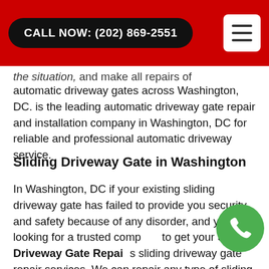CALL NOW: (202) 869-2551
the situation, and make all repairs of automatic driveway gates across Washington, DC. is the leading automatic driveway gate repair and installation company in Washington, DC for reliable and professional automatic driveway service.
Sliding Driveway Gate in Washington
In Washington, DC if your existing sliding driveway gate has failed to provide you security and safety because of any disorder, and you are looking for a trusted company to get your Sliding Driveway Gate Repair sliding driveway gate repair services. We can repair any type of sliding driveway gate